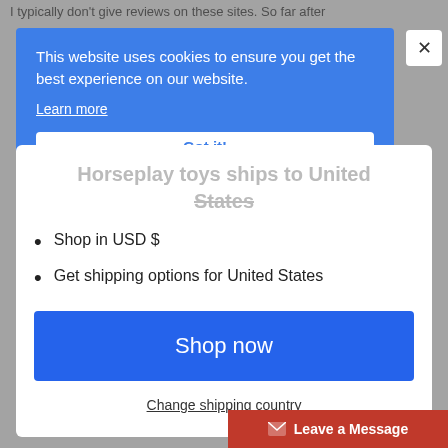I typically don't give reviews on these sites. So far after
This website uses cookies to ensure you get the best experience on our website.
Learn more
Got it!
Horseplay toys ships to United States
Shop in USD $
Get shipping options for United States
Shop now
Change shipping country
Leave a Message